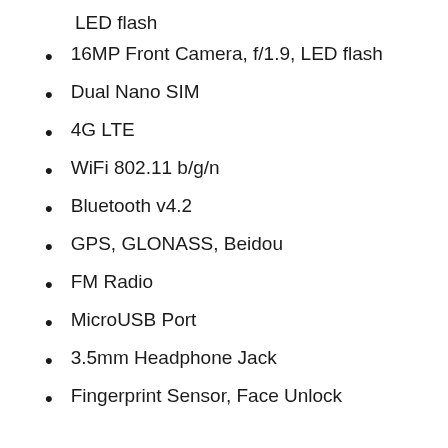LED flash
16MP Front Camera, f/1.9, LED flash
Dual Nano SIM
4G LTE
WiFi 802.11 b/g/n
Bluetooth v4.2
GPS, GLONASS, Beidou
FM Radio
MicroUSB Port
3.5mm Headphone Jack
Fingerprint Sensor, Face Unlock